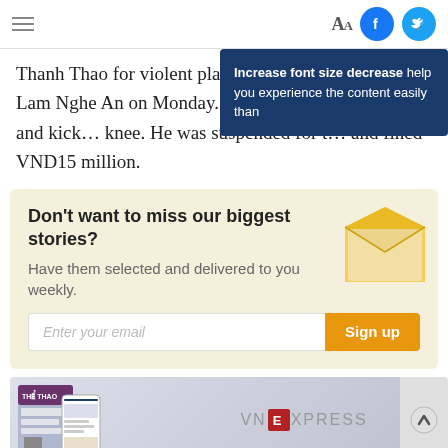AA [Facebook icon] [Twitter icon]
Thanh Thao for violent play in the game with Song Lam Nghe An on Monday. Tha... opponent in the face and kick... knee. He was suspended for t... and fined VND15 million.
Increase font size decrease help you experience the content easily than
Don't want to miss our biggest stories? Have them selected and delivered to you weekly.
Enter your email  Sign up
[Figure (screenshot): VNExpress advertisement banner with device mockup showing sports content and VNExpress logo]
↑